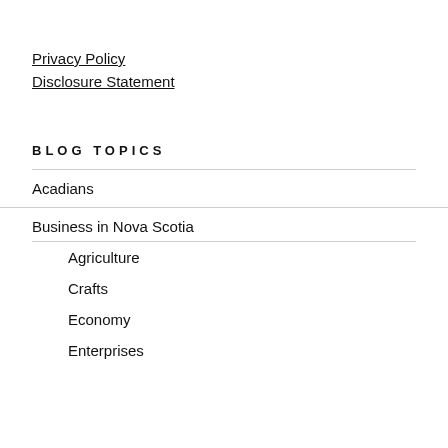Privacy Policy
Disclosure Statement
BLOG TOPICS
Acadians
Business in Nova Scotia
Agriculture
Crafts
Economy
Enterprises